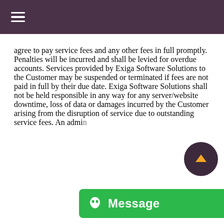☰ (navigation menu)
agree to pay service fees and any other fees in full promptly. Penalties will be incurred and shall be levied for overdue accounts. Services provided by Exiga Software Solutions to the Customer may be suspended or terminated if fees are not paid in full by their due date. Exiga Software Solutions shall not be held responsible in any way for any server/website downtime, loss of data or damages incurred by the Customer arising from the disruption of service due to outstanding service fees. An admin[istration fee] of $50 will be levied for re-activation